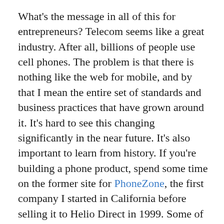What's the message in all of this for entrepreneurs? Telecom seems like a great industry. After all, billions of people use cell phones. The problem is that there is nothing like the web for mobile, and by that I mean the entire set of standards and business practices that have grown around it. It's hard to see this changing significantly in the near future. It's also important to learn from history. If you're building a phone product, spend some time on the former site for PhoneZone, the first company I started in California before selling it to Helio Direct in 1999. Some of my favorite products from that time, such as the Internet PhoneJACK (the first low-cost VoIP peripheral) and the Jetstream FrontDesk (great SoHo phone system), are also all long gone.
This is why I decided to quit telecom and focus on completely different projects. I am spending the next several years working on the Worldwide Lexicon, which